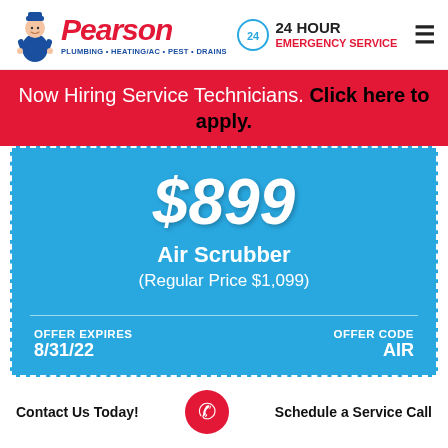[Figure (logo): Pearson Plumbing Heating/AC Pest Drains logo with mascot plumber character and red Pearson wordmark]
24 HOUR EMERGENCY SERVICE
Now Hiring Service Technicians. Click here to apply.
$899 Air Scrubber (Regular Price $1,099) OFFER EXPIRES 8/31/22 OFFER CODE AIR
Contact Us Today!
Schedule a Service Call